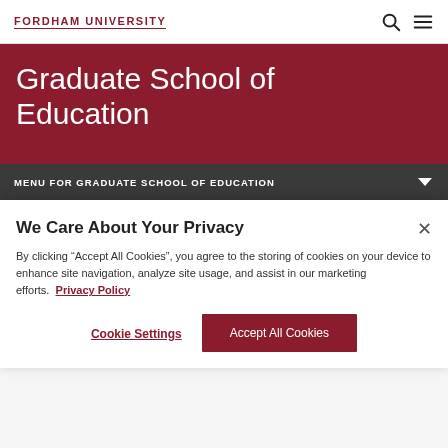FORDHAM UNIVERSITY
Graduate School of Education
Menu For Graduate School Of Education
We Care About Your Privacy
By clicking “Accept All Cookies”, you agree to the storing of cookies on your device to enhance site navigation, analyze site usage, and assist in our marketing efforts.  Privacy Policy
Cookie Settings
Accept All Cookies